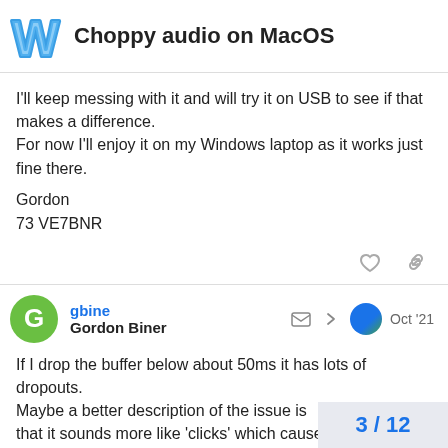Choppy audio on MacOS
I'll keep messing with it and will try it on USB to see if that makes a difference.
For now I'll enjoy it on my Windows laptop as it works just fine there.

Gordon
73 VE7BNR
gbine
Gordon Biner
Oct '21
If I drop the buffer below about 50ms it has lots of dropouts. Maybe a better description of the issue is that it sounds more like 'clicks' which cause the audio to drop. Sorry for the poor expla
I should also have mentioned that I'm runn
3 / 12